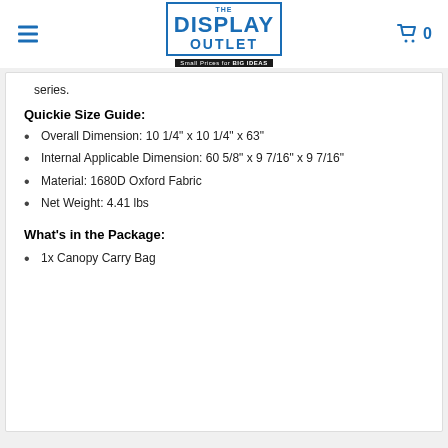[Figure (logo): The Display Outlet logo with tagline 'Small Prices for BIG IDEAS']
series.
Quickie Size Guide:
Overall Dimension: 10 1/4" x 10 1/4" x 63"
Internal Applicable Dimension: 60 5/8" x 9 7/16" x 9 7/16"
Material: 1680D Oxford Fabric
Net Weight: 4.41 lbs
What's in the Package:
1x Canopy Carry Bag